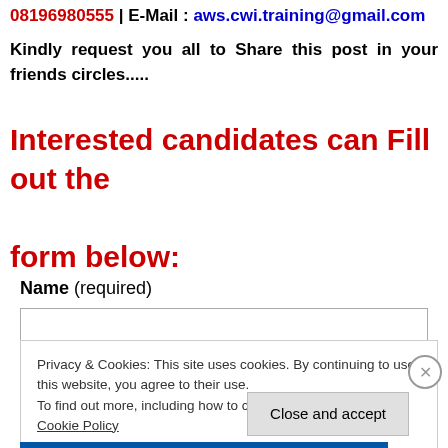08196980555 | E-Mail : aws.cwi.training@gmail.com
Kindly request you all to Share this post in your friends circles.....
Interested candidates can Fill out the form below:
Name (required)
Privacy & Cookies: This site uses cookies. By continuing to use this website, you agree to their use.
To find out more, including how to control cookies, see here: Cookie Policy
Close and accept